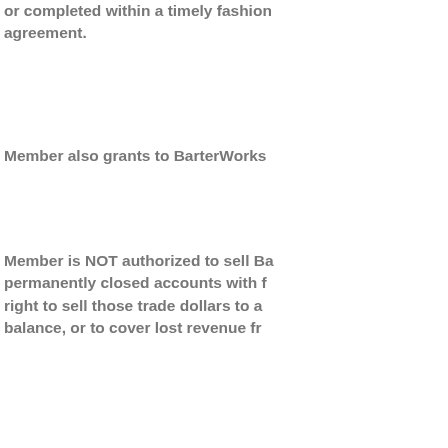or completed within a timely fashion. agreement.
Member also grants to BarterWorks
Member is NOT authorized to sell Ba permanently closed accounts with f right to sell those trade dollars to a balance, or to cover lost revenue fro
TERMINATION
If member violates any part of these member panel (if available) feels tha discretion immediately terminate m immediate adjustment to the transa unfreeze members account. BarterW that they not a good positive memb
Either party may terminate this Agre
Upon termination, all fees including